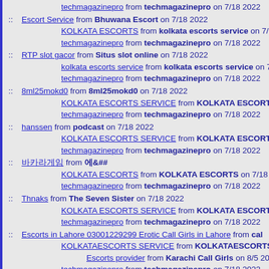techmagazinepro from techmagazinepro on 7/18 2022
:: Escort Service from Bhuwana Escort on 7/18 2022
  KOLKATA ESCORTS from kolkata escorts service on 7/18 2...
  techmagazinepro from techmagazinepro on 7/18 2022
:: RTP slot gacor from Situs slot online on 7/18 2022
  kolkata escorts service from kolkata escorts service on 7/18 ...
  techmagazinepro from techmagazinepro on 7/18 2022
:: 8ml25mokd0 from 8ml25mokd0 on 7/18 2022
  KOLKATA ESCORTS SERVICE from KOLKATA ESCORTS SE...
  techmagazinepro from techmagazinepro on 7/18 2022
:: hanssen from podcast on 7/18 2022
  KOLKATA ESCORTS SERVICE from KOLKATA ESCORTS SE...
  techmagazinepro from techmagazinepro on 7/18 2022
:: &#48148;&#52852;&#46972;&#44172;&#51076; from &#50640;&# on 7/18 2022
  KOLKATA ESCORTS from KOLKATA ESCORTS on 7/18 2022...
  techmagazinepro from techmagazinepro on 7/18 2022
:: Thnaks from The Seven Sister on 7/18 2022
  KOLKATA ESCORTS SERVICE from KOLKATA ESCORTS SE...
  techmagazinepro from techmagazinepro on 7/18 2022
:: Escorts in Lahore 03001229299 Erotic Call Girls in Lahore from cal...
  KOLKATAESCORTS SERVICE from KOLKATAESCORTS SE...
  Escorts provider from Karachi Call Girls on 8/5 2022
  techmagazinepro from techmagazinepro on 7/18 2022
:: canon printer not detected windows 11 from david walker on 7/18 ...
  KOLKATA ESCORTS SERVICE from KOLKATA ESCORTS SE...
  techmagazinepro from techmagazinepro on 7/18 2022
:: setup microsoft 365 from matthew on 7/18 2022
  KOLKATA ESCORTS from KOLKATA ESCORTS on 7/18 2022...
  techmagazinepro from techmagazinepro on 7/18 2022
:: Fildena medicine - Start Solid Relationship with Your Partner from...